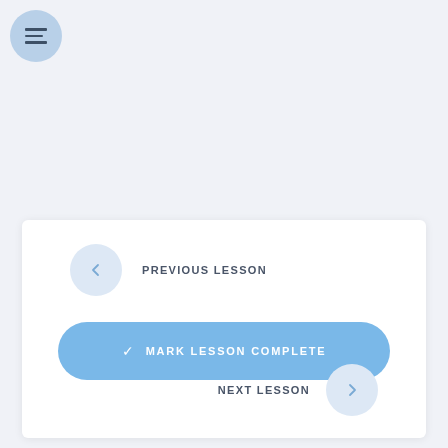[Figure (screenshot): Menu/hamburger icon button — circular blue button with three horizontal lines in top-left corner]
PREVIOUS LESSON
MARK LESSON COMPLETE
NEXT LESSON